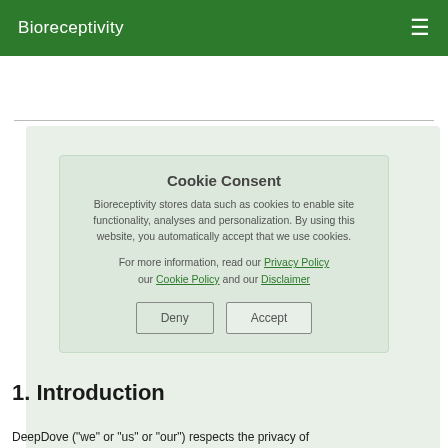Bioreceptivity
Bioreceptivity Home / Legal / Privacy Policy
Privacy Policy
Last updated 2021-09-21
Cookie Consent
Bioreceptivity stores data such as cookies to enable site functionality, analyses and personalization. By using this website, you automatically accept that we use cookies.
For more information, read our Privacy Policy our Cookie Policy and our Disclaimer
1. Introduction
DeepDove ("we" or "us" or "our") respects the privacy of